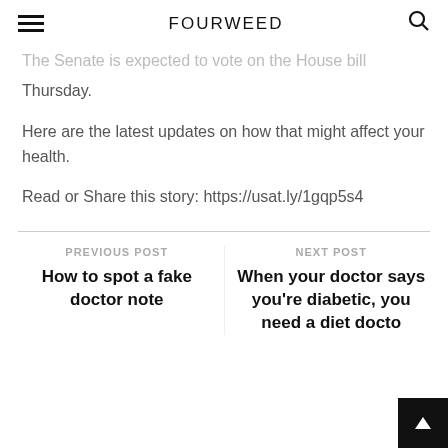FOURWEED
The Senate is expected to vote on the House bill Thursday.
Here are the latest updates on how that might affect your health.
Read or Share this story: https://usat.ly/1gqp5s4
PREVIOUS POST
How to spot a fake doctor note
NEXT POST
When your doctor says you're diabetic, you need a diet doctor